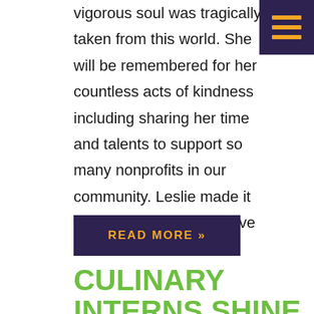vigorous soul was tragically taken from this world. She will be remembered for her countless acts of kindness including sharing her time and talents to support so many nonprofits in our community. Leslie made it her lifelong mission to give back to her …
[Figure (other): Dark purple hamburger menu icon with three gold/yellow horizontal bars on a dark purple square background, positioned in top-right corner]
READ MORE »
CULINARY INTERNS SHINE AT CHEFS FOR FARMERS